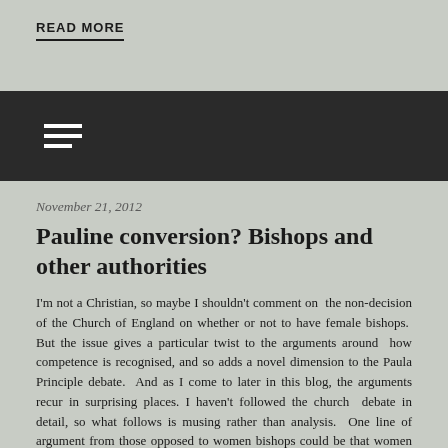READ MORE
[Figure (other): Dark navigation bar with hamburger menu icon (three horizontal lines)]
November 21, 2012
Pauline conversion? Bishops and other authorities
I'm not a Christian, so maybe I shouldn't comment on the non-decision of the Church of England on whether or not to have female bishops. But the issue gives a particular twist to the arguments around how competence is recognised, and so adds a novel dimension to the Paula Principle debate. And as I come to later in this blog, the arguments recur in surprising places. I haven't followed the church debate in detail, so what follows is musing rather than analysis. One line of argument from those opposed to women bishops could be that women could technically do the job perfectly well, but unfortunately for them the theology forbids it. A different line would be to